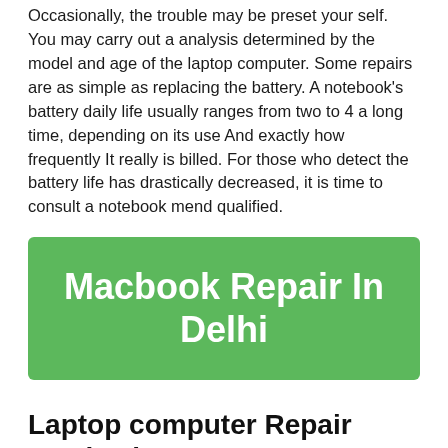Occasionally, the trouble may be preset your self. You may carry out a analysis determined by the model and age of the laptop computer. Some repairs are as simple as replacing the battery. A notebook's battery daily life usually ranges from two to 4 a long time, depending on its use And exactly how frequently It really is billed. For those who detect the battery life has drastically decreased, it is time to consult a notebook mend qualified.
[Figure (other): Green banner with white bold text reading 'Macbook Repair In Delhi']
Laptop computer Repair service by Gurus
Some widespread concerns with laptops is often